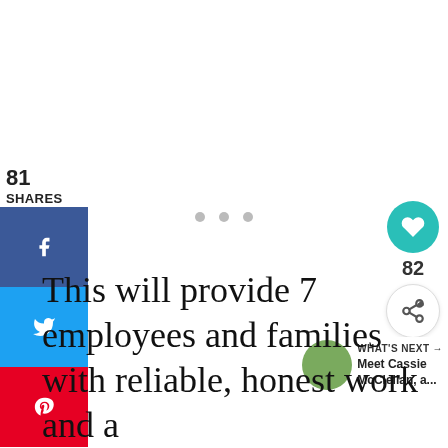81
SHARES
[Figure (infographic): Social share buttons: Facebook (f icon, blue), Twitter (bird icon, blue), Pinterest (p icon, red)]
[Figure (infographic): Three grey dots (loading indicator)]
[Figure (infographic): Heart/like button (teal circle, white heart icon), count 82, share button (white circle, share icon)]
WHAT'S NEXT → Meet Cassie McClellan, a...
This will provide 7 employees and families with reliable, honest work and a